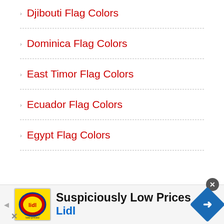Djibouti Flag Colors
Dominica Flag Colors
East Timor Flag Colors
Ecuador Flag Colors
Egypt Flag Colors
[Figure (infographic): Advertisement banner for Lidl: 'Suspiciously Low Prices' with Lidl logo and navigation icon]